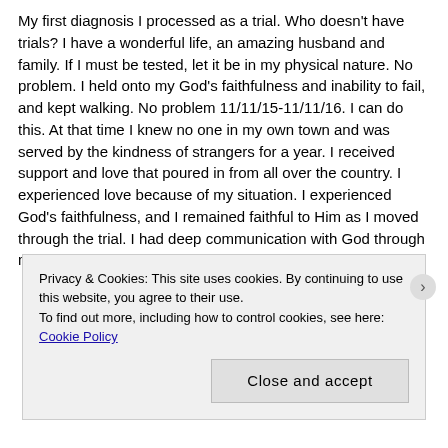My first diagnosis I processed as a trial.  Who doesn't have trials?  I have a wonderful life, an amazing husband and family.  If I must be tested, let it be in my physical nature.  No problem.  I held onto my God's faithfulness and inability to fail, and kept walking. No problem 11/11/15-11/11/16.  I can do this.  At that time I knew no one in my own town and was served by the kindness of strangers for a year.  I received support and love that poured in  from all over the country.  I experienced love because of my situation. I experienced God's faithfulness, and I remained faithful to Him as I moved through the trial.  I had deep communication with God through my darkest moments and I never doubted. I loved others
Privacy & Cookies: This site uses cookies. By continuing to use this website, you agree to their use.
To find out more, including how to control cookies, see here: Cookie Policy
Close and accept